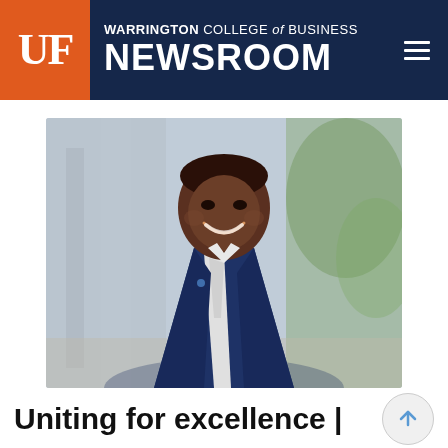UF | WARRINGTON COLLEGE of BUSINESS NEWSROOM
[Figure (photo): Professional headshot of a smiling man in a navy blue blazer and white dress shirt, photographed outdoors with a blurred background.]
Uniting for excellence |